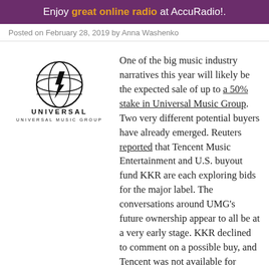Enjoy great online radio at AccuRadio!.
Posted on February 28, 2019 by Anna Washenko
[Figure (logo): Universal Music Group logo — globe with lightning bolt and text UNIVERSAL MUSIC GROUP]
One of the big music industry narratives this year will likely be the expected sale of up to a 50% stake in Universal Music Group. Two very different potential buyers have already emerged. Reuters reported that Tencent Music Entertainment and U.S. buyout fund KKR are each exploring bids for the major label. The conversations around UMG's future ownership appear to all be at a very early stage. KKR declined to comment on a possible buy, and Tencent was not available for comment to Reuters.
The road to UMG's sale will likely take several months. Vincent Bollore, the French businessman controlling parent company Vivendi with a 25% stake, is still in the